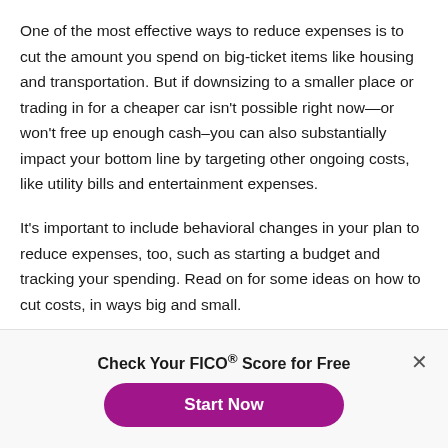One of the most effective ways to reduce expenses is to cut the amount you spend on big-ticket items like housing and transportation. But if downsizing to a smaller place or trading in for a cheaper car isn't possible right now—or won't free up enough cash–you can also substantially impact your bottom line by targeting other ongoing costs, like utility bills and entertainment expenses.
It's important to include behavioral changes in your plan to reduce expenses, too, such as starting a budget and tracking your spending. Read on for some ideas on how to cut costs, in ways big and small.
Check Your FICO® Score for Free
Start Now